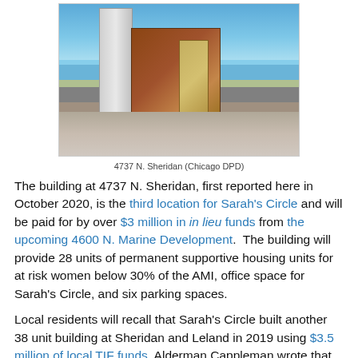[Figure (photo): Architectural rendering of 4737 N. Sheridan building — a modern multi-story brick and glass structure with a tall residential tower behind it, street-level view with pedestrians]
4737 N. Sheridan (Chicago DPD)
The building at 4737 N. Sheridan, first reported here in October 2020, is the third location for Sarah's Circle and will be paid for by over $3 million in in lieu funds from the upcoming 4600 N. Marine Development.  The building will provide 28 units of permanent supportive housing units for at risk women below 30% of the AMI, office space for Sarah's Circle, and six parking spaces.
Local residents will recall that Sarah's Circle built another 38 unit building at Sheridan and Leland in 2019 using $3.5 million of local TIF funds. Alderman Cappleman wrote that in